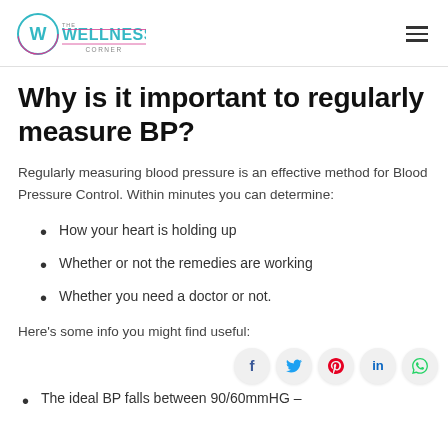The Wellness Corner
Why is it important to regularly measure BP?
Regularly measuring blood pressure is an effective method for Blood Pressure Control. Within minutes you can determine:
How your heart is holding up
Whether or not the remedies are working
Whether you need a doctor or not.
Here's some info you might find useful:
The ideal BP falls between 90/60mmHG –